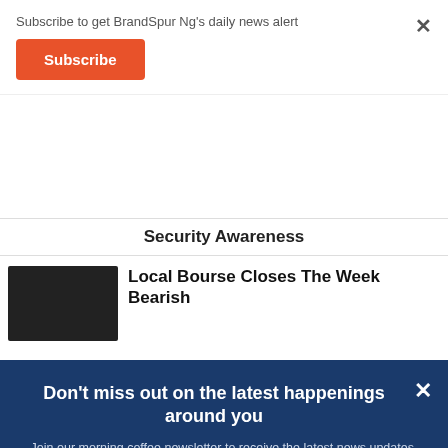Subscribe to get BrandSpur Ng's daily news alert
Subscribe
Security Awareness
Local Bourse Closes The Week Bearish
Don't miss out on the latest happenings around you
Join our morning coffee newsletter to receive the latest news updates. And it's free when you join now.
Email
Name
JOIN NOW